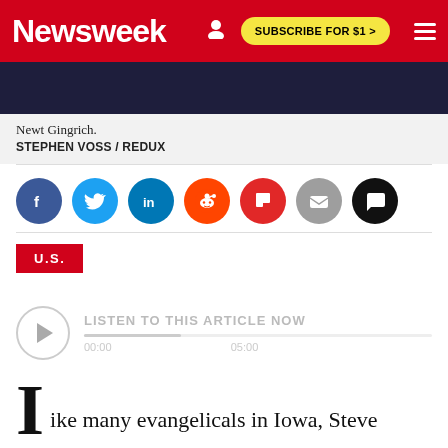Newsweek | SUBSCRIBE FOR $1 >
[Figure (photo): Partial photo of Newt Gingrich, dark background, man in suit]
Newt Gingrich.
STEPHEN VOSS / REDUX
[Figure (infographic): Social sharing icons row: Facebook, Twitter, LinkedIn, Reddit, Flipboard, Email, Comment]
U.S.
[Figure (other): Audio player widget with play button, listen to this article now]
ike many evangelicals in Iowa, Steve